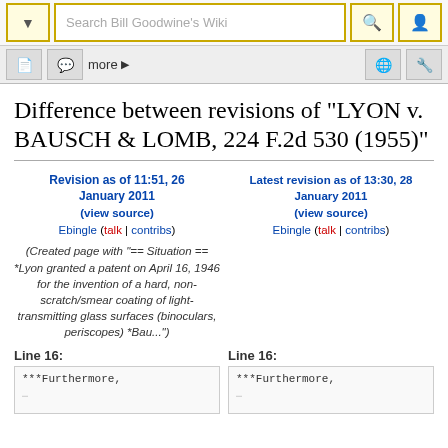[Figure (screenshot): MediaWiki top navigation bar with search field 'Search Bill Goodwine's Wiki', dropdown arrow button, search icon button, and user icon button, all with gold/yellow borders]
[Figure (screenshot): MediaWiki second navigation bar with page icon, talk icon, 'more' link with arrow, globe icon, and tools icon]
Difference between revisions of "LYON v. BAUSCH & LOMB, 224 F.2d 530 (1955)"
Revision as of 11:51, 26 January 2011 (view source)
Ebingle (talk | contribs)
(Created page with "== Situation == *Lyon granted a patent on April 16, 1946 for the invention of a hard, non-scratch/smear coating of light-transmitting glass surfaces (binoculars, periscopes) *Bau...")
Latest revision as of 13:30, 28 January 2011 (view source)
Ebingle (talk | contribs)
Line 16:
Line 16:
***Furthermore,
***Furthermore,